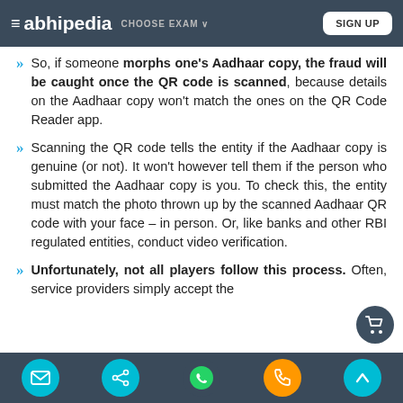≡ abhipedia  CHOOSE EXAM ∨  SIGN UP
So, if someone morphs one's Aadhaar copy, the fraud will be caught once the QR code is scanned, because details on the Aadhaar copy won't match the ones on the QR Code Reader app.
Scanning the QR code tells the entity if the Aadhaar copy is genuine (or not). It won't however tell them if the person who submitted the Aadhaar copy is you. To check this, the entity must match the photo thrown up by the scanned Aadhaar QR code with your face – in person. Or, like banks and other RBI regulated entities, conduct video verification.
Unfortunately, not all players follow this process. Often, service providers simply accept the